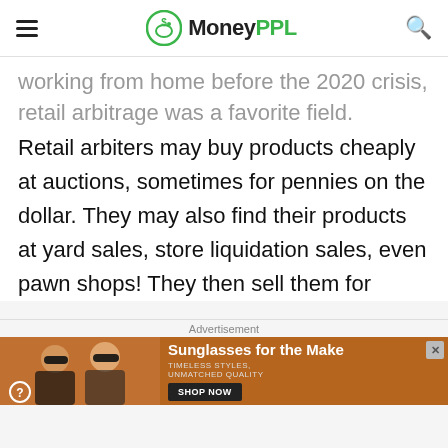MoneyPPL
working from home before the 2020 crisis, retail arbitrage was a favorite field.
Retail arbiters may buy products cheaply at auctions, sometimes for pennies on the dollar. They may also find their products at yard sales, store liquidation sales, even pawn shops! They then sell them for
Advertisement
[Figure (photo): Advertisement banner for sunglasses featuring two women wearing sunglasses. Text reads: 'Sunglasses for the Make', 'TIMELESS STYLES, UNMATCHED QUALITY', with a 'SHOP NOW' button.]